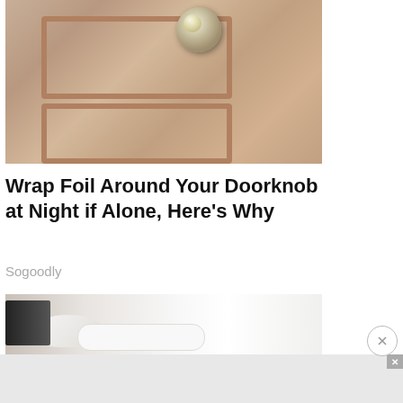[Figure (photo): Close-up photo of a wooden door with a crumpled aluminum foil wrapped around the doorknob]
Wrap Foil Around Your Doorknob at Night if Alone, Here's Why
Sogoodly
[Figure (photo): Photo of a person wearing white sneakers, close-up of feet on white surface]
[Figure (infographic): Advertisement banner: HOW PROGRESSIVES SOLD OUT RURAL TOWNS TO FOREIGN DRUG LORDS - WATCH NOW - NARCOFORNIA]